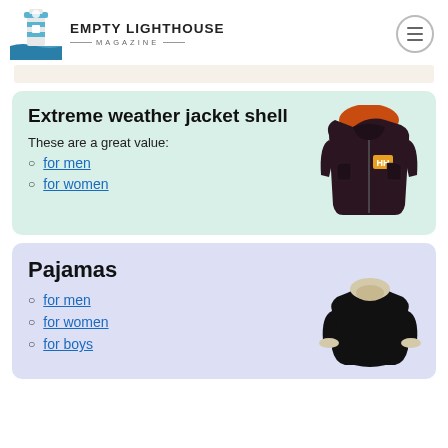EMPTY LIGHTHOUSE MAGAZINE
[Figure (illustration): Empty Lighthouse Magazine logo with lighthouse icon]
Extreme weather jacket shell
These are a great value:
for men
for women
[Figure (photo): Dark purple Helly Hansen extreme weather jacket shell with orange hood lining]
Pajamas
for men
for women
for boys
[Figure (photo): Black sherpa-lined pullover sweater/pajama top with cream cuffs]